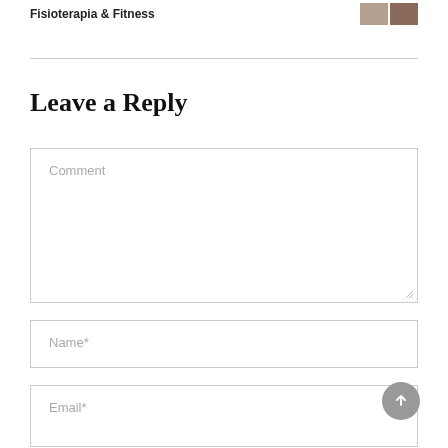Fisioterapia & Fitness
Leave a Reply
Comment
Name*
Email*